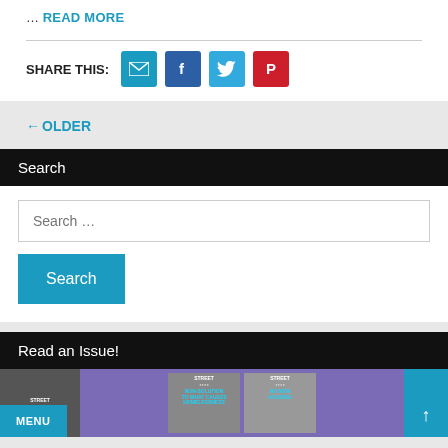… READ MORE
SHARE THIS:
[Figure (screenshot): Social share icons: email (teal), Facebook (blue), Twitter (light blue), Pinterest (red)]
← OLDER
Search
Search …
Search
Read an Issue!
[Figure (screenshot): Three Street newspaper magazine covers on a purple background]
MENU
↑